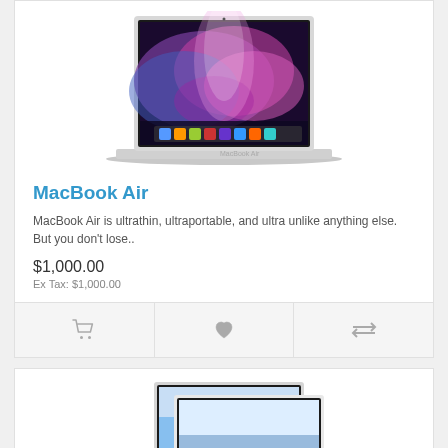[Figure (photo): MacBook Air laptop with colorful aurora wallpaper displayed on screen, silver aluminum body, shown from front at slight angle]
MacBook Air
MacBook Air is ultrathin, ultraportable, and ultra unlike anything else. But you don't lose..
$1,000.00
Ex Tax: $1,000.00
[Figure (photo): Two MacBook laptops overlapping, showing blue sky wallpaper on screens]